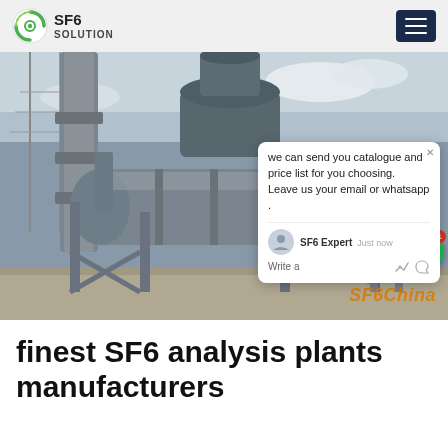SF6 SOLUTION
[Figure (photo): Industrial SF6 gas equipment / analysis plant installed outdoors at an electrical substation. Large grey cylindrical vessels and metal framework on a steel support structure. Chat popup overlay visible on right side.]
finest SF6 analysis plants manufacturers